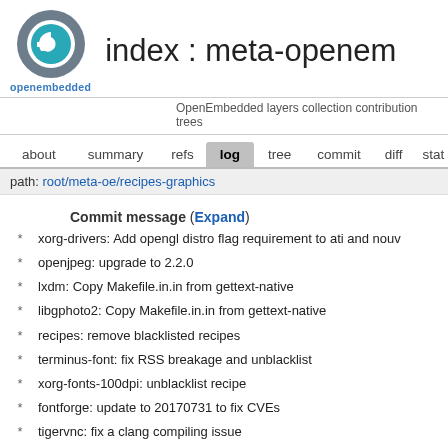[Figure (logo): OpenEmbedded circular logo with stylized 'e' and teal/grey colors]
index : meta-openem
OpenEmbedded layers collection contribution trees
about   summary   refs   log   tree   commit   diff   stat
path: root/meta-oe/recipes-graphics
Commit message (Expand)
* xorg-drivers: Add opengl distro flag requirement to ati and nouv
* openjpeg: upgrade to 2.2.0
* lxdm: Copy Makefile.in.in from gettext-native
* libgphoto2: Copy Makefile.in.in from gettext-native
* recipes: remove blacklisted recipes
* terminus-font: fix RSS breakage and unblacklist
* xorg-fonts-100dpi: unblacklist recipe
* fontforge: update to 20170731 to fix CVEs
* tigervnc: fix a clang compiling issue
* fbida: Fix build with libjpeg-turbo
* assimp: remove recipe
* tigervnc: add recipe 1.8.0
* gimp: remove libart-lgpl build dependency